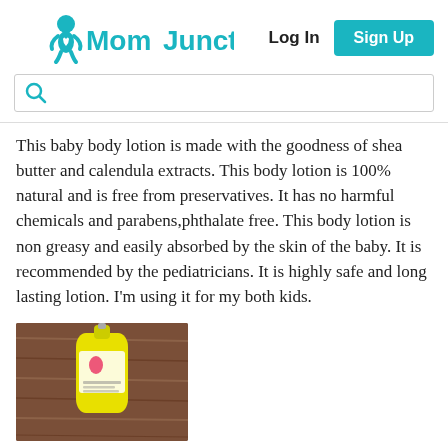MomJunction | Log In | Sign Up
This baby body lotion is made with the goodness of shea butter and calendula extracts. This body lotion is 100% natural and is free from preservatives. It has no harmful chemicals and parabens,phthalate free. This body lotion is non greasy and easily absorbed by the skin of the baby. It is recommended by the pediatricians. It is highly safe and long lasting lotion. I'm using it for my both kids.
[Figure (photo): Yellow baby lotion bottle on a brown wooden surface]